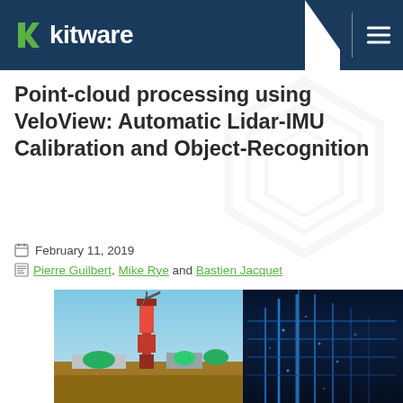Kitware
Point-cloud processing using VeloView: Automatic Lidar-IMU Calibration and Object-Recognition
February 11, 2019
Pierre Guilbert, Mike Rye and Bastien Jacquet
[Figure (photo): Two side-by-side photos in diamond/chevron shape: left shows a red construction crane with equipment against a blue sky; right shows a blue-tinted lidar point-cloud visualization of industrial equipment]